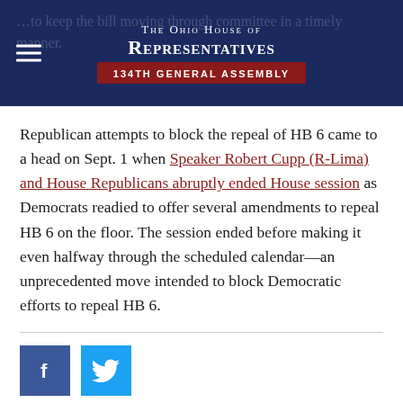THE OHIO HOUSE OF REPRESENTATIVES 134TH GENERAL ASSEMBLY
Republican attempts to block the repeal of HB 6 came to a head on Sept. 1 when Speaker Robert Cupp (R-Lima) and House Republicans abruptly ended House session as Democrats readied to offer several amendments to repeal HB 6 on the floor. The session ended before making it even halfway through the scheduled calendar—an unprecedented move intended to block Democratic efforts to repeal HB 6.
[Figure (logo): Facebook share icon — blue square with white 'f' letterform]
[Figure (logo): Twitter share icon — light blue square with white Twitter bird logo]
[Figure (logo): Accessibility icon — dark red circle with white wheelchair/person accessibility symbol and outer ring]